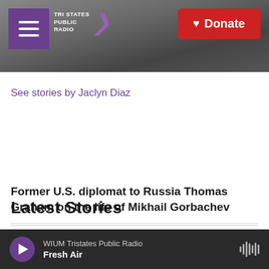[Figure (screenshot): Tri States Public Radio website header with navigation menu button, logo, and red Donate button over a grayscale photo background]
See stories by Jaclyn Diaz
Latest Stories
Former U.S. diplomat to Russia Thomas Graham on the life of Mikhail Gorbachev
A shipment of baby wipes turns out to be $11.8 million
WIUM Tristates Public Radio | Fresh Air